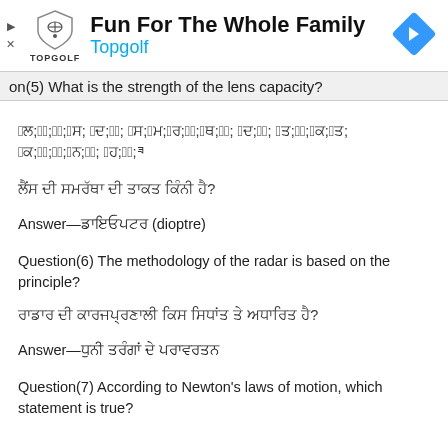[Figure (other): Topgolf advertisement banner with shield logo, headline 'Fun For The Whole Family', subtext 'Topgolf', and a blue diamond navigation arrow icon on the right.]
on(5) What is the strength of the lens capacity?
ਲੈਂਸ ਦੀ ਸਮਰੱਥਾ ਦੀ ਤਾਕਤ ਕਿੰਨੀ ਹੈ?
Answer—ਡਾਇਓਪਟਰ (dioptre)
Question(6) The methodology of the radar is based on the principle?
ਰਾਡਾਰ ਦੀ ਕਾਰਜਪ੍ਰਣਾਲੀ ਕਿਸ ਸਿਧਾਂਤ ਤੇ ਅਧਾਰਿਤ ਹੈ?
Answer—ਧੁਨੀ ਤਰੰਗਾਂ ਦੇ ਪਰਾਵਰਤਨ
Question(7) According to Newton's laws of motion, which statement is true?